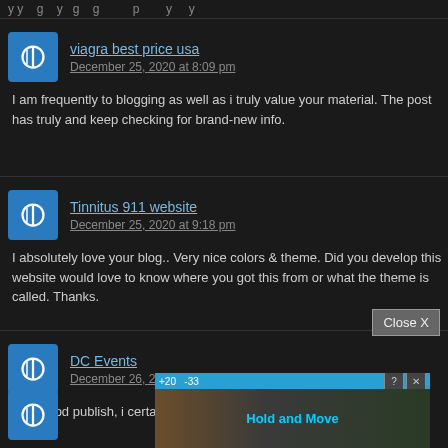y y g y g g p y y
viagra best price usa
December 25, 2020 at 8:09 pm
I am frequently to blogging as well as i truly value your material. The post has truly and keep checking for brand-new info.
Tinnitus 911 website
December 25, 2020 at 9:18 pm
I absolutely love your blog.. Very nice colors & theme. Did you develop this website would love to know where you got this from or what the theme is called. Thanks.
DC Events
December 26, 2020 at 2:44 am
very good publish, i certainly love this website, carry on it
[Figure (screenshot): Ad overlay showing Hold and Move app advertisement with trees background and blue top bar with +20 and -33 indicators, with Close X button and ? X icons]